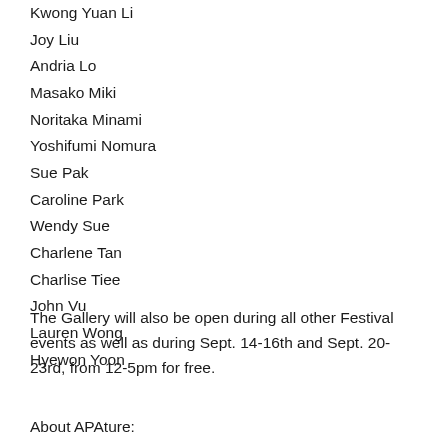Kwong Yuan Li
Joy Liu
Andria Lo
Masako Miki
Noritaka Minami
Yoshifumi Nomura
Sue Pak
Caroline Park
Wendy Sue
Charlene Tan
Charlise Tiee
John Vu
Lauren Wong
Hyewon Yoon
The Gallery will also be open during all other Festival events as well as during Sept. 14-16th and Sept. 20-23rd, from 12-5pm for free.
About APAture: